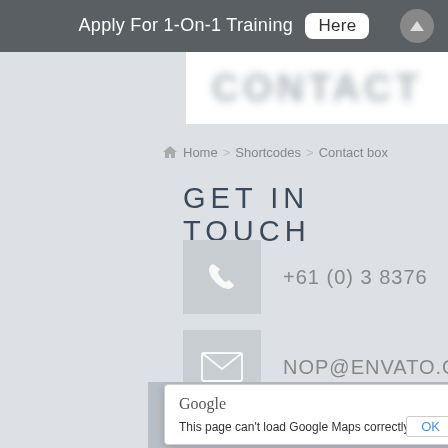Apply For 1-On-1 Training Here
[Figure (screenshot): Blurred website banner/title text]
Home > Shortcodes > Contact box
GET IN TOUCH
+61 (0) 3 8376
NOP@ENVATO.COM
[Figure (screenshot): Google Maps error dialog: 'This page can't load Google Maps correctly.' with OK button]